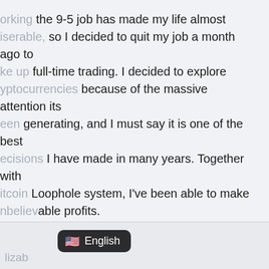orking the 9-5 job has made my life almost miserable, so I decided to quit my job a month ago to ake up full-time trading. I decided to explore ryptocurrencies because of the massive attention its een generating, and I must say it is one of the best ecisions I have made in many years. Together with itcoin Loophole system, I've been able to make nbelievable profits.

t first, it sounded too good to be true, but my life has ken a turn for the better since plugging into the ystem. Plus, I have learned so much about asset ading in the shortest time, thanks to this fantastic oftware.
lizab